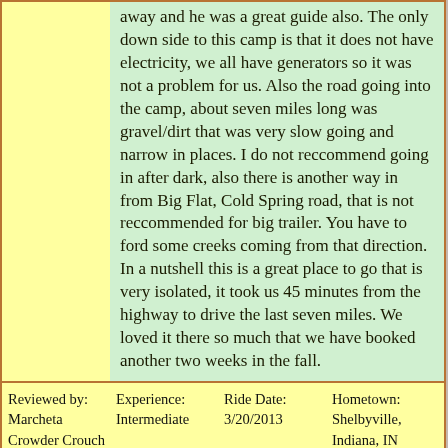away and he was a great guide also. The only down side to this camp is that it does not have electricity, we all have generators so it was not a problem for us. Also the road going into the camp, about seven miles long was gravel/dirt that was very slow going and narrow in places. I do not reccommend going in after dark, also there is another way in from Big Flat, Cold Spring road, that is not reccommended for big trailer. You have to ford some creeks coming from that direction. In a nutshell this is a great place to go that is very isolated, it took us 45 minutes from the highway to drive the last seven miles. We loved it there so much that we have booked another two weeks in the fall.
| Reviewed by | Experience | Ride Date | Hometown |
| --- | --- | --- | --- |
| Marcheta Crowder Crouch on 3/25/2013 5:09:54 PM | Intermediate | 3/20/2013 | Shelbyville, Indiana, IN |